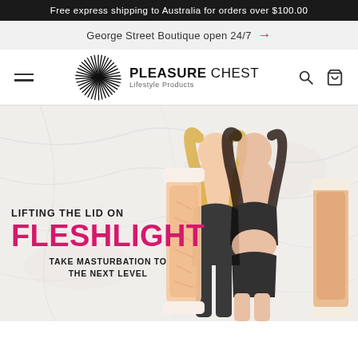Free express shipping to Australia for orders over $100.00
George Street Boutique open 24/7 →
[Figure (logo): Pleasure Chest Lifestyle Products logo with stylized swirl/burst graphic]
[Figure (photo): Hero banner image showing two women in black lingerie holding Fleshlight products against a marble background. Text overlay reads: LIFTING THE LID ON / FLESHLIGHT / TAKE MASTURBATION TO THE NEXT LEVEL]